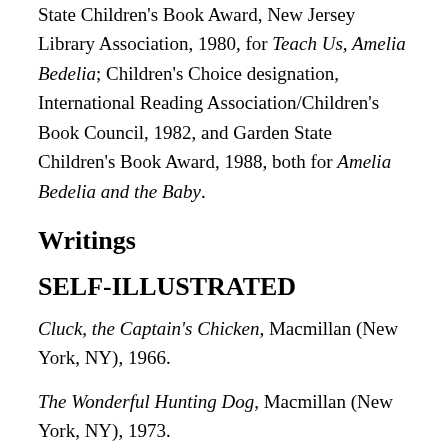State Children's Book Award, New Jersey Library Association, 1980, for Teach Us, Amelia Bedelia; Children's Choice designation, International Reading Association/Children's Book Council, 1982, and Garden State Children's Book Award, 1988, both for Amelia Bedelia and the Baby.
Writings
SELF-ILLUSTRATED
Cluck, the Captain's Chicken, Macmillan (New York, NY), 1966.
The Wonderful Hunting Dog, Macmillan (New York, NY), 1973.